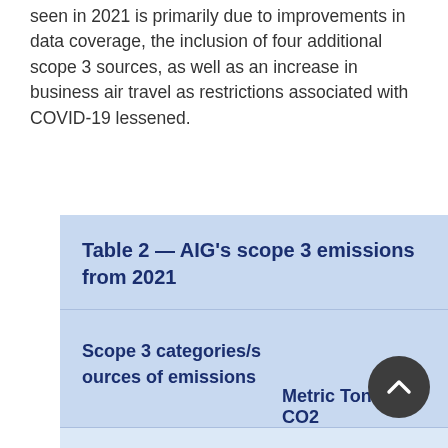seen in 2021 is primarily due to improvements in data coverage, the inclusion of four additional scope 3 sources, as well as an increase in business air travel as restrictions associated with COVID-19 lessened.
| Scope 3 categories/sources of emissions | Metric Tons of CO2e |
| --- | --- |